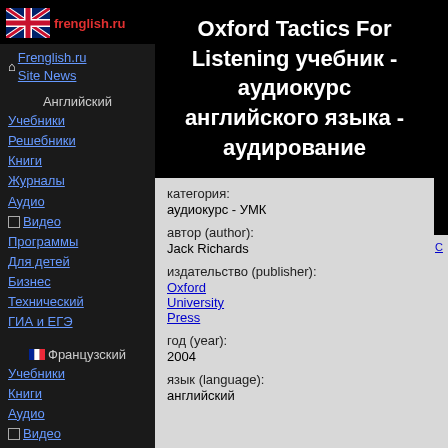[Figure (logo): frenglish.ru logo with UK flag]
Frenglish.ru
Site News
Английский
Учебники
Решебники
Книги
Журналы
Аудио
Видео
Программы
Для детей
Бизнес
Технический
ГИА и ЕГЭ
Французский
Учебники
Книги
Аудио
Видео
Для детей
Oxford Tactics For Listening учебник - аудиокурс английского языка - аудирование
категория:
аудиокурс - УМК
автор (author):
Jack Richards
издательство (publisher):
Oxford University Press
год (year):
2004
язык (language):
английский